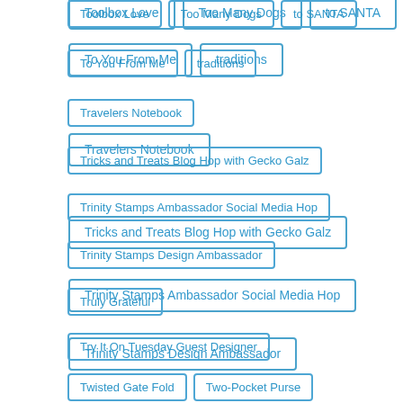Toolbox Love
Too Many Dogs
to SANTA
To You From Me
traditions
Travelers Notebook
Tricks and Treats Blog Hop with Gecko Galz
Trinity Stamps Ambassador Social Media Hop
Trinity Stamps Design Ambassador
Truly Grateful
Try It On Tuesday Guest Designer
Twisted Gate Fold
Two-Pocket Purse
Under the Mistletoe
Under the Sea